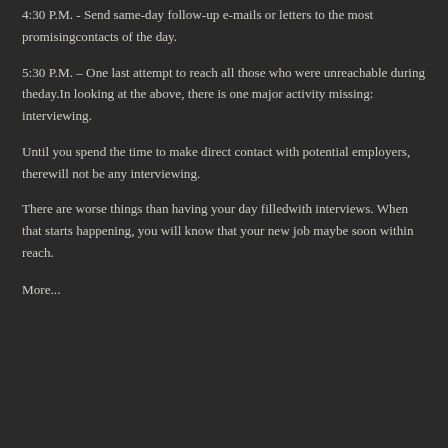4:30 P.M. - Send same-day follow-up e-mails or letters to the most promisingcontacts of the day.
5:30 P.M. - One last attempt to reach all those who were unreachable during theday.In looking at the above, there is one major activity missing: interviewing.
Until you spend the time to make direct contact with potential employers, therewill not be any interviewing.
There are worse things than having your day filledwith interviews. When that starts happening, you will know that your new job maybe soon within reach.
More...